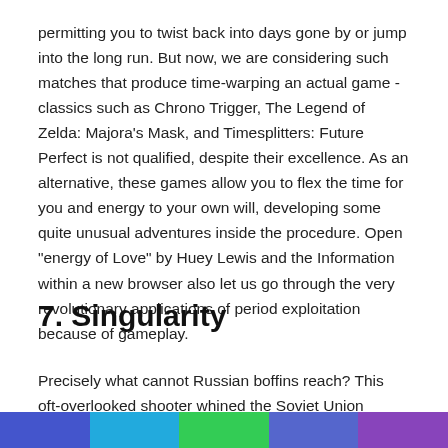permitting you to twist back into days gone by or jump into the long run. But now, we are considering such matches that produce time-warping an actual game -classics such as Chrono Trigger, The Legend of Zelda: Majora's Mask, and Timesplitters: Future Perfect is not qualified, despite their excellence. As an alternative, these games allow you to flex the time for you and energy to your own will, developing some quite unusual adventures inside the procedure. Open "energy of Love" by Huey Lewis and the Information within a new browser also let us go through the very revolutionary applications of period exploitation because of gameplay.
7. Singularity
Precisely what cannot Russian boffins reach? This oft-overlooked shooter whined the Soviet Union experienced
[Figure (other): Color bar strip at the bottom of the page with four colored segments: blue, cyan/light-blue, green, and purple.]